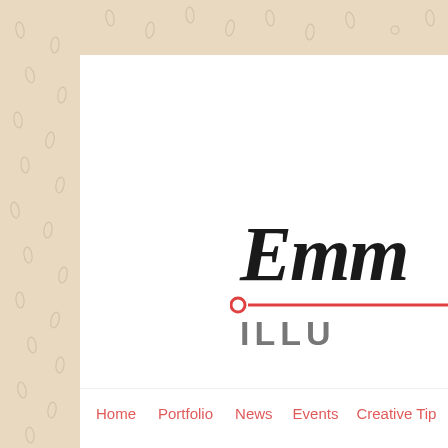[Figure (logo): Partially visible logo reading 'Emm' in black cursive script with a red horizontal line with circle accent below, followed by 'ILLU' in bold grey sans-serif capitals — cropped at right edge]
Home  Portfolio  News  Events  Creative Tip
Saturday, 20 October 2018
The Lakes International Comic Art Festival 2018
[Figure (photo): Partially visible photograph at the bottom of the page]